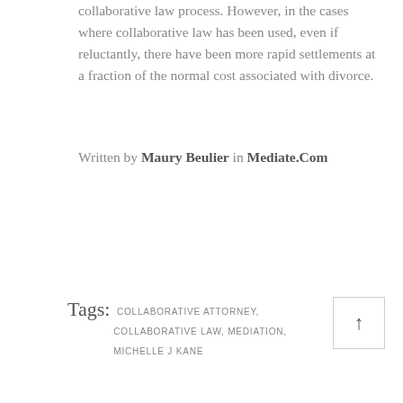collaborative law process. However, in the cases where collaborative law has been used, even if reluctantly, there have been more rapid settlements at a fraction of the normal cost associated with divorce.
Written by Maury Beulier in Mediate.Com
Tags: COLLABORATIVE ATTORNEY, COLLABORATIVE LAW, MEDIATION, MICHELLE J KANE